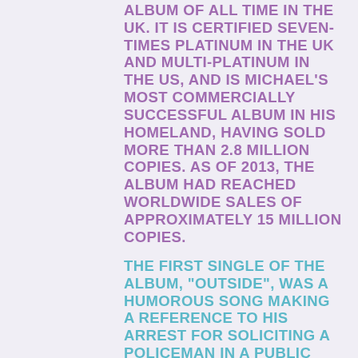ALBUM OF ALL TIME IN THE UK. IT IS CERTIFIED SEVEN-TIMES PLATINUM IN THE UK AND MULTI-PLATINUM IN THE US, AND IS MICHAEL'S MOST COMMERCIALLY SUCCESSFUL ALBUM IN HIS HOMELAND, HAVING SOLD MORE THAN 2.8 MILLION COPIES. AS OF 2013, THE ALBUM HAD REACHED WORLDWIDE SALES OF APPROXIMATELY 15 MILLION COPIES.
THE FIRST SINGLE OF THE ALBUM, "OUTSIDE", WAS A HUMOROUS SONG MAKING A REFERENCE TO HIS ARREST FOR SOLICITING A POLICEMAN IN A PUBLIC TOILET. "AS", HIS DUET WITH MARY J. BLIGE, WAS RELEASED AS THE